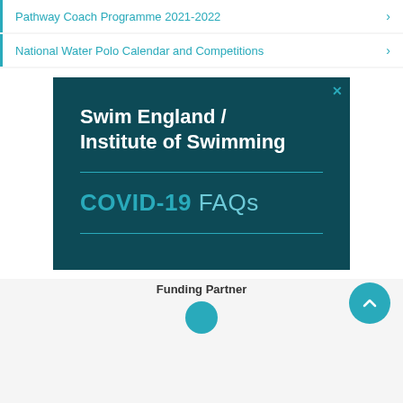Pathway Coach Programme 2021-2022
National Water Polo Calendar and Competitions
[Figure (screenshot): Advertisement banner for Swim England / Institute of Swimming COVID-19 FAQs on a dark teal background with white and light blue text, with a close (X) button in the top right corner.]
Funding Partner